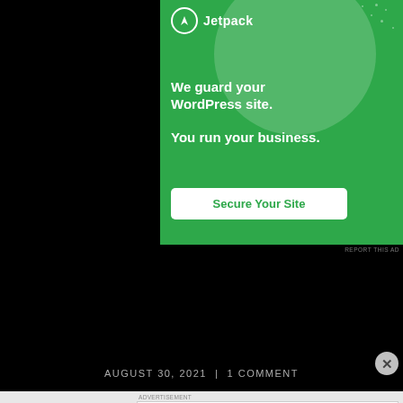[Figure (screenshot): Jetpack advertisement banner with green background showing logo, tagline 'We guard your WordPress site. You run your business.' and a 'Secure Your Site' CTA button]
REPORT THIS AD
AUGUST 30, 2021 | 1 COMMENT
[Figure (screenshot): Bloomingdales advertisement banner showing logo, 'View Today's Top Deals!' text and SHOP NOW button with a woman in a hat]